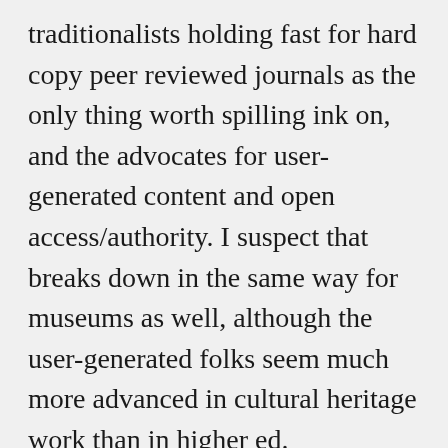traditionalists holding fast for hard copy peer reviewed journals as the only thing worth spilling ink on, and the advocates for user-generated content and open access/authority. I suspect that breaks down in the same way for museums as well, although the user-generated folks seem much more advanced in cultural heritage work than in higher ed.
I am coming up on some 250 weekly (more-or-less) posts for my blog over the past 4.5 years. I think back when I started doing a bi-monthly podcast about nine years ago called Archaeology Overlooked. Back then, I had stories to tell that I thought were interesting and that other folks might like to hear. I think today I push more of an agenda around community engagement with